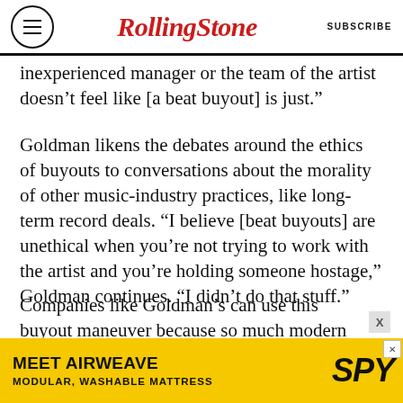RollingStone | SUBSCRIBE
inexperienced manager or the team of the artist doesn’t feel like [a beat buyout] is just.”
Goldman likens the debates around the ethics of buyouts to conversations about the morality of other music-industry practices, like long-term record deals. “I believe [beat buyouts] are unethical when you’re not trying to work with the artist and you’re holding someone hostage,” Goldman continues. “I didn’t do that stuff.”
Companies like Goldman’s can use this buyout maneuver because so much modern music is recorded by artists who obtain beats online and never set foot in the same studio as their
[Figure (other): Advertisement banner for Airweave: MEET AIRWEAVE / MODULAR, WASHABLE MATTRESS with SPY logo on yellow background]